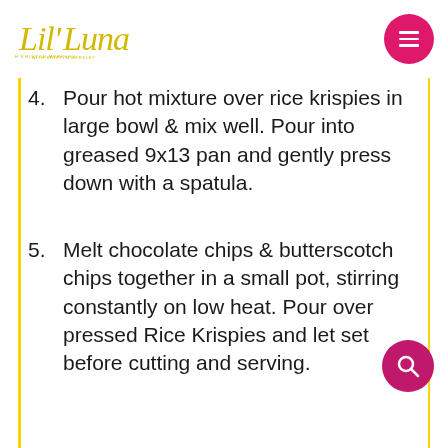Lil' Luna with Kristyn Merkley
4. Pour hot mixture over rice krispies in large bowl & mix well. Pour into greased 9x13 pan and gently press down with a spatula.
5. Melt chocolate chips & butterscotch chips together in a small pot, stirring constantly on low heat. Pour over pressed Rice Krispies and let set before cutting and serving.